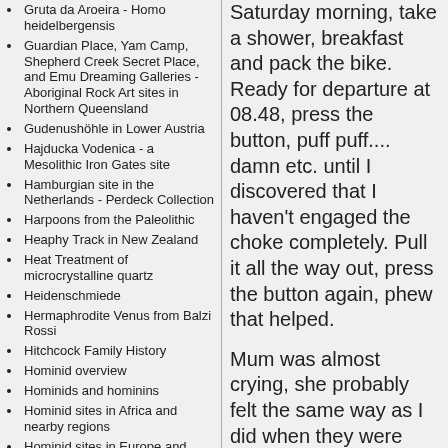Gruta da Aroeira - Homo heidelbergensis
Guardian Place, Yam Camp, Shepherd Creek Secret Place, and Emu Dreaming Galleries - Aboriginal Rock Art sites in Northern Queensland
Gudenushöhle in Lower Austria
Hajducka Vodenica - a Mesolithic Iron Gates site
Hamburgian site in the Netherlands - Perdeck Collection
Harpoons from the Paleolithic
Heaphy Track in New Zealand
Heat Treatment of microcrystalline quartz
Heidenschmiede
Hermaphrodite Venus from Balzi Rossi
Hitchcock Family History
Hominid overview
Hominids and hominins
Hominid sites in Africa and nearby regions
Hominid sites in Europe and nearby regions
Homo Erectus - Homo Sapiens skull found in China
Homo Habilis
Homo Naledi
Homo Rudolfensis
Saturday morning, take a shower, breakfast and pack the bike. Ready for departure at 08.48, press the button, puff puff.... damn etc. until I discovered that I haven't engaged the choke completely. Pull it all the way out, press the button again, phew that helped.
Mum was almost crying, she probably felt the same way as I did when they were going round the world or on their trip to Egypt.
The bike feels a bit weird with all that luggage on board, but runs fine. No traffic on "gl. Horsens landevej" (Old Horsens country road), a lot from Vejle to Kolding, but otherwise free all the way to